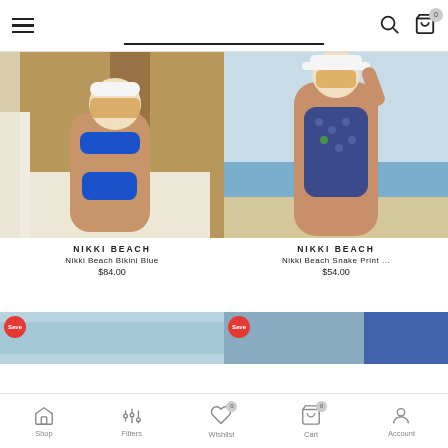Navigation header with hamburger menu, search bar underline, search icon, and cart icon
[Figure (photo): Woman wearing a blue bikini kneeling on a white cushion at a tropical resort setting]
NIKKI BEACH
Nikki Beach Bikini Blue
$84.00
[Figure (photo): Woman wearing a blue snake print one-piece swimsuit on a beach holding a white hat]
NIKKI BEACH
Nikki Beach Snake Print ...
$54.00
[Figure (photo): Partially visible product card with Save badge (left)]
[Figure (photo): Partially visible product card with Save badge (right)]
Shop  Filters  Wishlist 0  Cart 0  Account